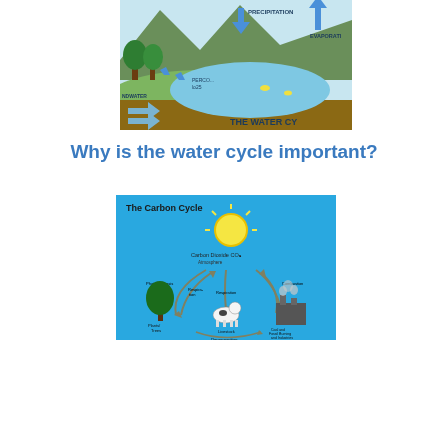[Figure (illustration): Partially visible diagram of the water cycle showing precipitation, evaporation, groundwater, and landscape with trees, lake, and arrows indicating water movement. Title reads 'THE WATER CY[CLE]'.]
Why is the water cycle important?
[Figure (illustration): The Carbon Cycle diagram on a blue background showing a sun, trees, a cow, a factory with smoke, and curved arrows illustrating carbon dioxide exchange, photosynthesis, respiration, decomposition, and combustion processes. Title reads 'The Carbon Cycle'.]